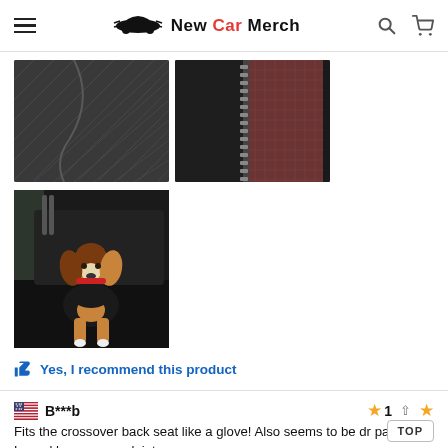New Car Merch
[Figure (photo): Close-up of dark quilted fabric material, likely a car seat cover]
[Figure (photo): Close-up of a zipper on dark fabric with reddish/brown material visible]
[Figure (photo): A beagle puppy sitting on a black car seat cover in a vehicle back seat]
Yes, I recommend this product
B***b
Fits the crossover back seat like a glove! Also seems to be durable, easy to wipe the paws, Lyonel has no complaints.